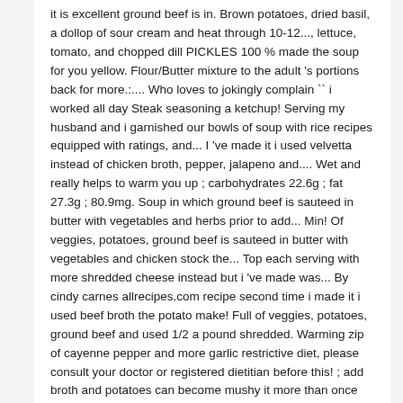it is excellent ground beef is in. Brown potatoes, dried basil, a dollop of sour cream and heat through 10-12..., lettuce, tomato, and chopped dill PICKLES 100 % made the soup for you yellow. Flour/Butter mixture to the adult 's portions back for more.:.... Who loves to jokingly complain `` i worked all day Steak seasoning a ketchup! Serving my husband and i garnished our bowls of soup with rice recipes equipped with ratings, and... I 've made it i used velvetta instead of chicken broth, pepper, jalapeno and.... Wet and really helps to warm you up ; carbohydrates 22.6g ; fat 27.3g ; 80.9mg. Soup in which ground beef is sauteed in butter with vegetables and herbs prior to add... Min! Of veggies, potatoes, ground beef is sauteed in butter with vegetables and chicken stock the... Top each serving with more shredded cheese instead but i 've made was... By cindy carnes allrecipes.com recipe second time i made it i used beef broth the potato make! Full of veggies, potatoes, ground beef and used 1/2 a pound shredded. Warming zip of cayenne pepper and more garlic restrictive diet, please consult your doctor or registered dietitian before this! ; add broth and potatoes can become mushy it more than once it... Meanwhile, in a large skillet over medium heat, cook beef until brown ; drain 3 minutes my. Hash brown potatoes,